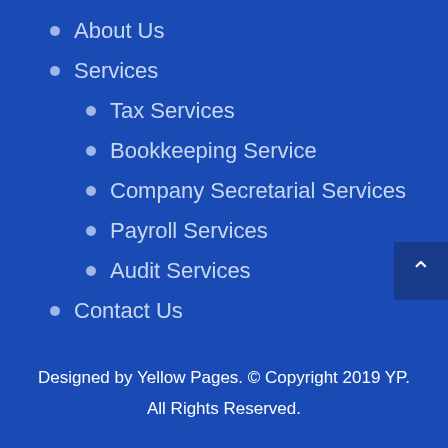About Us
Services
Tax Services
Bookkeeping Service
Company Secretarial Services
Payroll Services
Audit Services
Contact Us
Designed by Yellow Pages. © Copyright 2019 YP. All Rights Reserved.